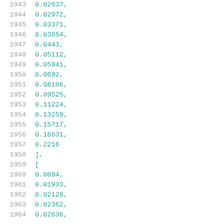1943  0.02637,
1944  0.02972,
1945  0.03371,
1946  0.03854,
1947  0.0443,
1948  0.05112,
1949  0.05941,
1950  0.0692,
1951  0.08106,
1952  0.09525,
1953  0.11224,
1954  0.13259,
1955  0.15717,
1956  0.18631,
1957  0.2216
1958  ],
1959  [
1960  0.0094,
1961  0.01933,
1962  0.02128,
1963  0.02362,
1964  0.02636,